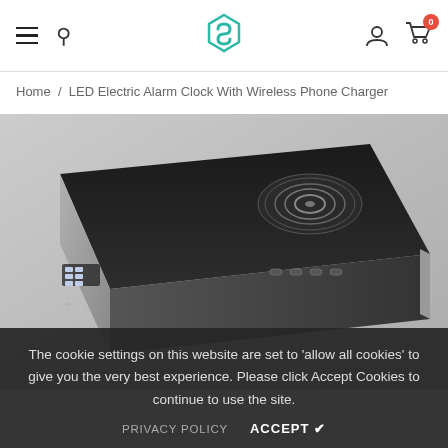Navigation bar with hamburger menu, search icon, logo, user account icon, and cart (0)
Home / LED Electric Alarm Clock With Wireless Phone Charger
[Figure (photo): Product photo of an LED Electric Alarm Clock with Wireless Phone Charger. The device is black and silver, shown at an angle from above. The top surface has a round wireless charging pad with concentric signal rings. The front face shows an LED time display and several control buttons on the side.]
The cookie settings on this website are set to 'allow all cookies' to give you the very best experience. Please click Accept Cookies to continue to use the site.
PRIVACY POLICY   ACCEPT ✔